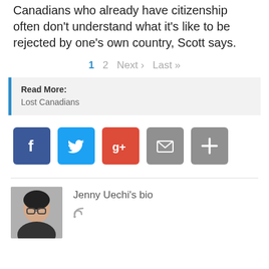Canadians who already have citizenship often don't understand what it's like to be rejected by one's own country, Scott says.
1  2  Next ›  Last »
Read More:
Lost Canadians
[Figure (infographic): Social sharing buttons: Facebook (blue), Twitter (light blue), Google+ (red), Email (grey envelope), More (grey plus)]
Jenny Uechi's bio
[Figure (photo): Author photo of Jenny Uechi — a woman with glasses and dark hair]